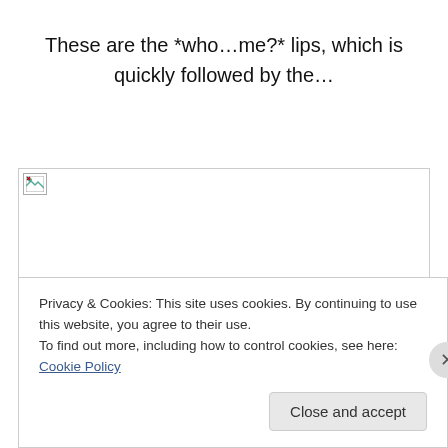These are the *who…me?* lips, which is quickly followed by the…
[Figure (photo): Broken image placeholder with small broken image icon in top-left corner, bordered box]
Privacy & Cookies: This site uses cookies. By continuing to use this website, you agree to their use.
To find out more, including how to control cookies, see here: Cookie Policy